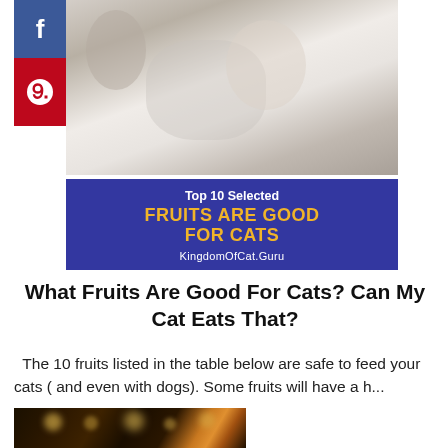[Figure (photo): Hero image showing a cat with social media share buttons (Facebook and Pinterest) on the left side, and a dark blue banner at the bottom reading 'Top 10 Selected FRUITS ARE GOOD FOR CATS KingdomOfCat.Guru']
What Fruits Are Good For Cats? Can My Cat Eats That?
The 10 fruits listed in the table below are safe to feed your cats ( and even with dogs). Some fruits will have a h...
READ MORE
[Figure (photo): Partial view of a Christmas/holiday photo with bokeh lights, dark warm toned background]